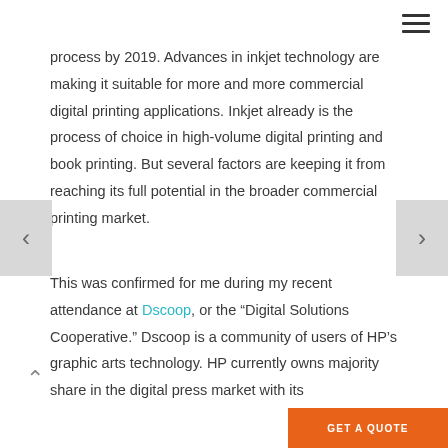process by 2019. Advances in inkjet technology are making it suitable for more and more commercial digital printing applications. Inkjet already is the process of choice in high-volume digital printing and book printing. But several factors are keeping it from reaching its full potential in the broader commercial printing market.
This was confirmed for me during my recent attendance at Dscoop, or the “Digital Solutions Cooperative.” Dscoop is a community of users of HP’s graphic arts technology. HP currently owns majority share in the digital press market with its